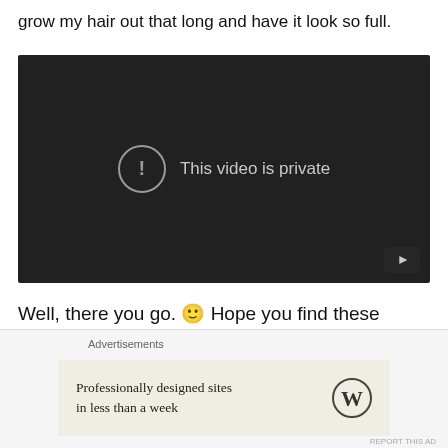grow my hair out that long and have it look so full.
[Figure (screenshot): Embedded YouTube video player showing a private video message: a circle with exclamation mark icon and text 'This video is private' on a dark background, with a YouTube play button in the bottom right corner.]
Well, there you go. 🙂 Hope you find these videos as interesting as I did 😜
Advertisements
[Figure (other): Advertisement banner with cream background showing WordPress logo and text 'Professionally designed sites in less than a week']